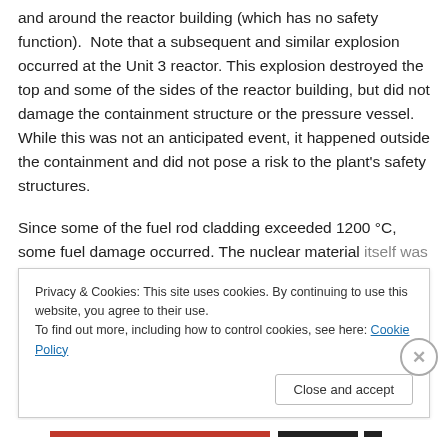and around the reactor building (which has no safety function). Note that a subsequent and similar explosion occurred at the Unit 3 reactor. This explosion destroyed the top and some of the sides of the reactor building, but did not damage the containment structure or the pressure vessel. While this was not an anticipated event, it happened outside the containment and did not pose a risk to the plant's safety structures.
Since some of the fuel rod cladding exceeded 1200 °C, some fuel damage occurred. The nuclear material itself was still intact, but the surrounding Zircaloy shell had
Privacy & Cookies: This site uses cookies. By continuing to use this website, you agree to their use.
To find out more, including how to control cookies, see here: Cookie Policy